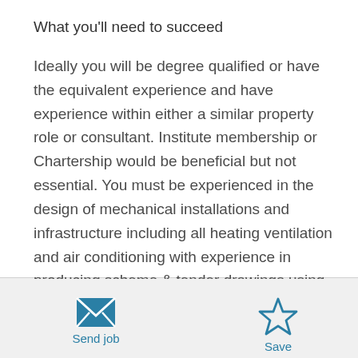What you'll need to succeed
Ideally you will be degree qualified or have the equivalent experience and have experience within either a similar property role or consultant. Institute membership or Chartership would be beneficial but not essential. You must be experienced in the design of mechanical installations and infrastructure including all heating ventilation and air conditioning with experience in producing scheme & tender drawings using AutoCAD Software
Send job
Save